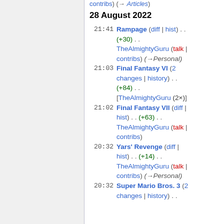contribs) (→ Articles)
28 August 2022
21:41  Rampage (diff | hist) . . (+30) . . TheAlmightyGuru (talk | contribs) (→Personal)
21:03  Final Fantasy VI (2 changes | history) . . (+84) . . [TheAlmightyGuru (2×)]
21:02  Final Fantasy VII (diff | hist) . . (+63) . . TheAlmightyGuru (talk | contribs)
20:32  Yars' Revenge (diff | hist) . . (+14) . . TheAlmightyGuru (talk | contribs) (→Personal)
20:32  Super Mario Bros. 3 (2 changes | history) . .